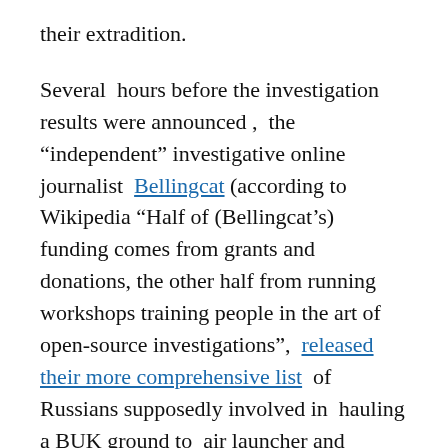their extradition.
Several hours before the investigation results were announced , the “independent” investigative online journalist Bellingcat (according to Wikipedia “Half of (Bellingcat’s) funding comes from grants and donations, the other half from running workshops training people in the art of open-source investigations”, released their more comprehensive list of Russians supposedly involved in hauling a BUK ground to air launcher and targetting system across the Russian/Ukrainian border, shooting down the civilian jet and then hauling it back across into Russian territory. The reasons for going